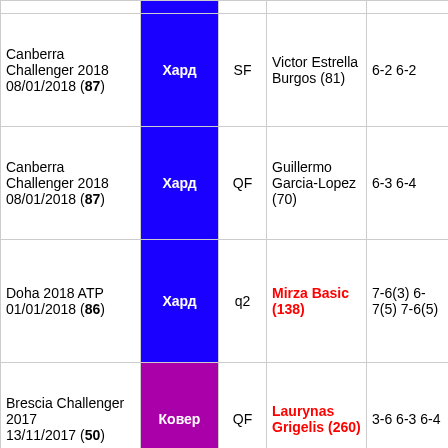| Tournament | Surface | Round | Opponent | Score | Odds |
| --- | --- | --- | --- | --- | --- |
| Canberra Challenger 2018 08/01/2018 (87) | Хард | SF | Victor Estrella Burgos (81) | 6-2 6-2 | 3..4// / 0..4// |
| Canberra Challenger 2018 08/01/2018 (87) | Хард | QF | Guillermo Garcia-Lopez (70) | 6-3 6-4 | 2..5// / 0..5// |
| Doha 2018 ATP 01/01/2018 (86) | Хард | q2 | Mirza Basic (138) | 7-6(3) 6-7(5) 7-6(5) | 0.6// / 0.6// |
| Brescia Challenger 2017 13/11/2017 (50) | Ковер | QF | Laurynas Grigelis (260) | 3-6 6-3 6-4 |  |
|  |  |  |  |  | перв |